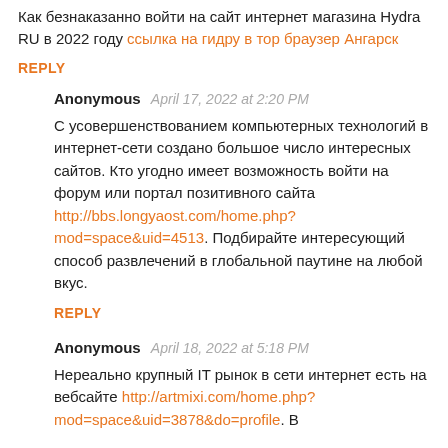Как безнаказанно войти на сайт интернет магазина Hydra RU в 2022 году ссылка на гидру в тор браузер Ангарск
REPLY
Anonymous  April 17, 2022 at 2:20 PM
С усовершенствованием компьютерных технологий в интернет-сети создано большое число интересных сайтов. Кто угодно имеет возможность войти на форум или портал позитивного сайта http://bbs.longyaost.com/home.php?mod=space&uid=4513. Подбирайте интересующий способ развлечений в глобальной паутине на любой вкус.
REPLY
Anonymous  April 18, 2022 at 5:18 PM
Нереально крупный IT рынок в сети интернет есть на вебсайте http://artmixi.com/home.php?mod=space&uid=3878&do=profile. В